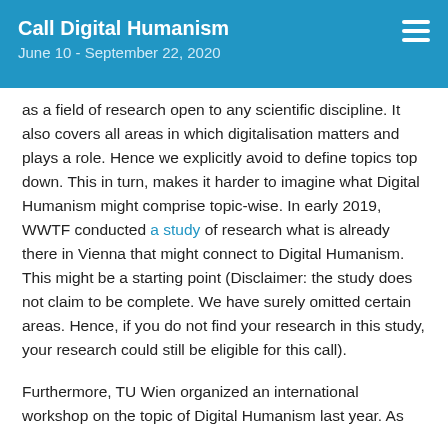Call Digital Humanism
June 10 - September 22, 2020
as a field of research open to any scientific discipline. It also covers all areas in which digitalisation matters and plays a role. Hence we explicitly avoid to define topics top down. This in turn, makes it harder to imagine what Digital Humanism might comprise topic-wise. In early 2019, WWTF conducted a study of research what is already there in Vienna that might connect to Digital Humanism. This might be a starting point (Disclaimer: the study does not claim to be complete. We have surely omitted certain areas. Hence, if you do not find your research in this study, your research could still be eligible for this call).
Furthermore, TU Wien organized an international workshop on the topic of Digital Humanism last year. As